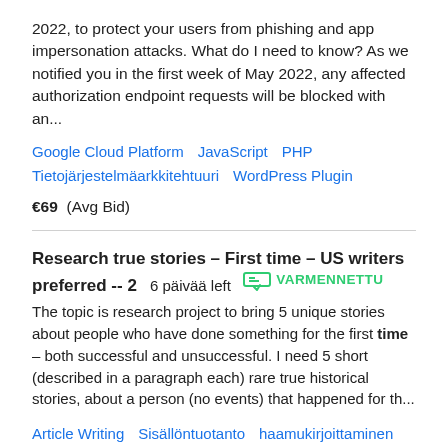2022, to protect your users from phishing and app impersonation attacks. What do I need to know? As we notified you in the first week of May 2022, any affected authorization endpoint requests will be blocked with an...
Google Cloud Platform   JavaScript   PHP   Tietojärjestelmäarkkitehtuuri   WordPress Plugin
€69  (Avg Bid)
Research true stories – First time – US writers preferred -- 2   6 päivää left   VARMENNETTU
The topic is research project to bring 5 unique stories about people who have done something for the first time – both successful and unsuccessful. I need 5 short (described in a paragraph each) rare true historical stories, about a person (no events) that happened for th...
Article Writing   Sisällöntuotanto   haamukirjoittaminen   Tutkimus   Tutkimusten kirjoitus